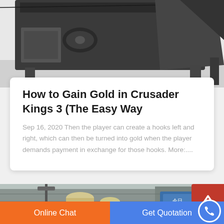[Figure (photo): Industrial machinery/crusher equipment in a factory setting, dark metallic machinery on white floor]
How to Gain Gold in Crusader Kings 3 (The Easy Way
Sep 16, 2020 Then the player can create a hooks left and right, which can then be turned into gold when the player demands payment in exchange for those hooks. More:....
[Figure (photo): Industrial building exterior with silos/tanks, signs with Chinese characters visible]
Online Chat
Get Quotation